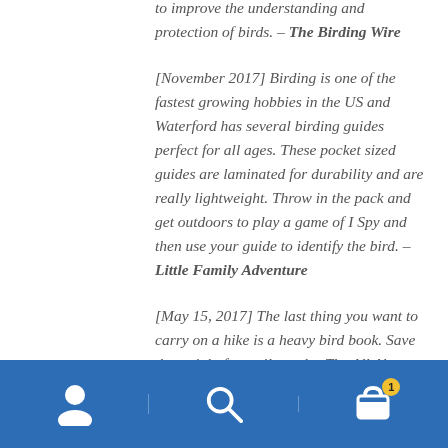to improve the understanding and protection of birds. – The Birding Wire
[November 2017] Birding is one of the fastest growing hobbies in the US and Waterford has several birding guides perfect for all ages. These pocket sized guides are laminated for durability and are really lightweight. Throw in the pack and get outdoors to play a game of I Spy and then use your guide to identify the bird. – Little Family Adventure
[May 15, 2017] The last thing you want to carry on a hike is a heavy bird book. Save the weight for trail snacks. The All About